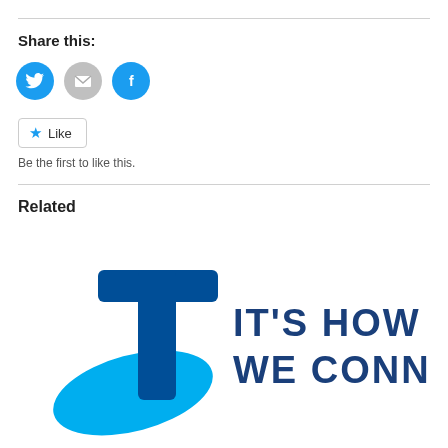Share this:
[Figure (illustration): Three circular social share icons: Twitter (blue with bird), Email (grey with envelope), Facebook (blue with f)]
[Figure (illustration): Like button with star icon and text 'Like']
Be the first to like this.
Related
[Figure (logo): Telstra logo with T symbol in blue and light blue, and text 'IT'S HOW WE CONNECT']